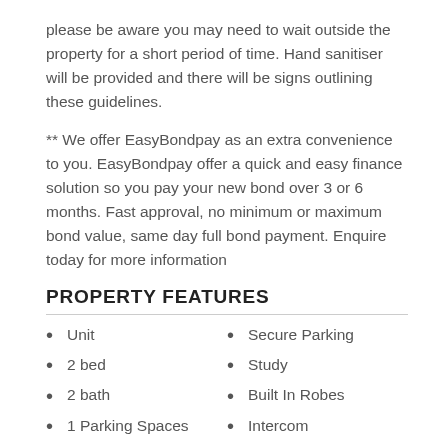please be aware you may need to wait outside the property for a short period of time. Hand sanitiser will be provided and there will be signs outlining these guidelines.
** We offer EasyBondpay as an extra convenience to you. EasyBondpay offer a quick and easy finance solution so you pay your new bond over 3 or 6 months. Fast approval, no minimum or maximum bond value, same day full bond payment. Enquire today for more information
PROPERTY FEATURES
Unit
2 bed
2 bath
1 Parking Spaces
Land is 120 m²
Secure Parking
Study
Built In Robes
Intercom
Area Views